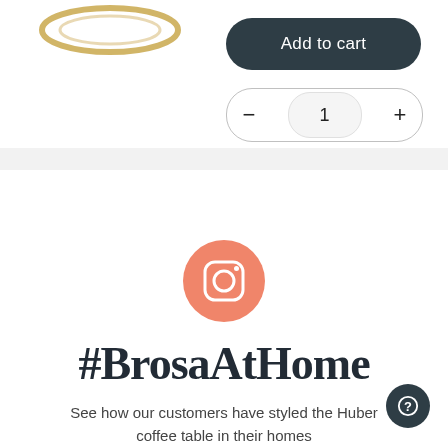[Figure (screenshot): Partial product image (golden/brass coffee table base, top-left corner of page)]
Add to cart
− 1 +
[Figure (logo): Instagram logo icon on salmon/peach circular background]
#BrosaAtHome
See how our customers have styled the Huber coffee table in their homes